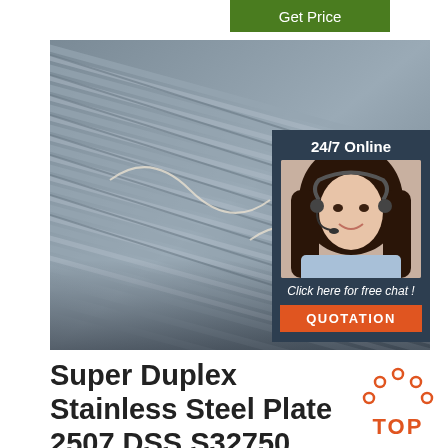[Figure (other): Green 'Get Price' button at top]
[Figure (photo): Stainless steel rebar rods stacked together, with a customer service chat overlay panel on the right showing '24/7 Online', a female agent photo, 'Click here for free chat!' text, and an orange 'QUOTATION' button]
Super Duplex Stainless Steel Plate 2507 DSS S32750 Plate
[Figure (logo): Orange TOP badge with dot pattern above the text TOP]